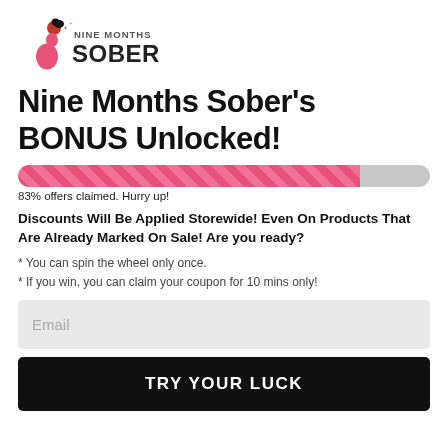[Figure (logo): Nine Months Sober logo with pregnant woman silhouette in pink and black text]
Nine Months Sober's BONUS Unlocked!
[Figure (infographic): Progress bar showing 83% offers claimed in pink striped fill with gray remainder]
83% offers claimed. Hurry up!
Discounts Will Be Applied Storewide! Even On Products That Are Already Marked On Sale! Are you ready?
* You can spin the wheel only once.
* If you win, you can claim your coupon for 10 mins only!
Email
TRY YOUR LUCK